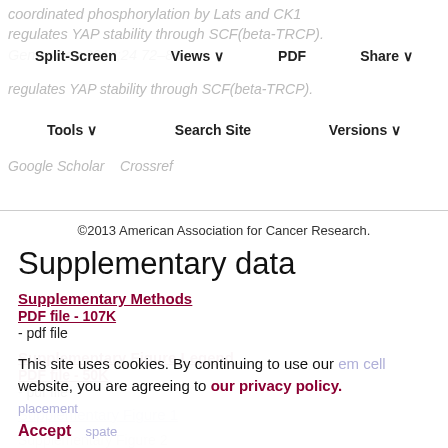coordinated phosphorylation by Lats and CK1 regulates YAP stability through SCF(beta-TRCP). Genes Dev 2012;24 72–85.
Split-Screen  Views  PDF  Share  Tools  Search Site  Versions  Google Scholar  Crossref
©2013 American Association for Cancer Research.
Supplementary data
Supplementary Methods
PDF file - 107K
- pdf file
Supplementary Figure Legend
PDF file - 50K
- pdf file
Supplementary Figure 1
This site uses cookies. By continuing to use our website, you are agreeing to our privacy policy. Accept